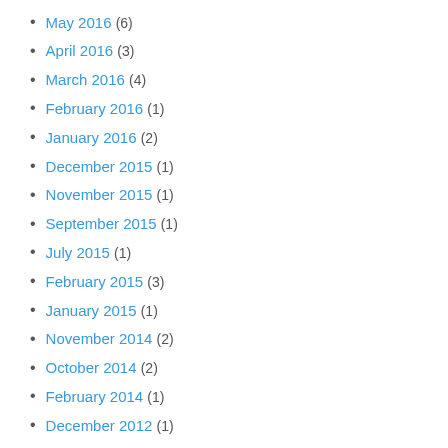May 2016 (6)
April 2016 (3)
March 2016 (4)
February 2016 (1)
January 2016 (2)
December 2015 (1)
November 2015 (1)
September 2015 (1)
July 2015 (1)
February 2015 (3)
January 2015 (1)
November 2014 (2)
October 2014 (2)
February 2014 (1)
December 2012 (1)
November 2012 (4)